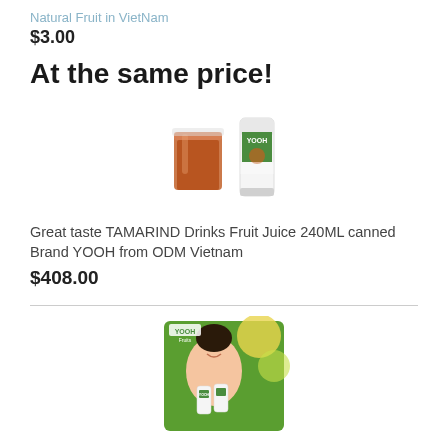Natural Fruit in VietNam
$3.00
At the same price!
[Figure (photo): Product image showing a glass of tamarind juice and a YOOH branded can]
Great taste TAMARIND Drinks Fruit Juice 240ML canned Brand YOOH from ODM Vietnam
$408.00
[Figure (photo): Product image showing a woman holding YOOH branded pineapple juice cans with fruit in background]
PINEAPPLE JUICE 240ml Canned Cheap Price for wholesale Brand YOOH Vietnam OEM and ODM from Econuti Food
$408.00